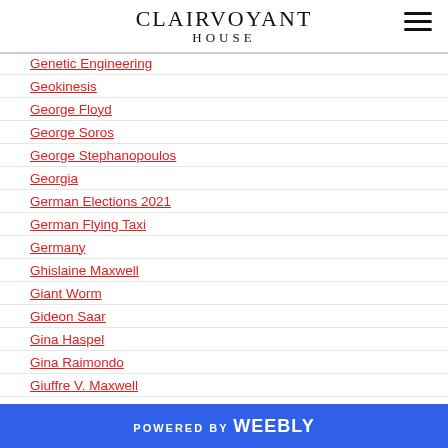CLAIRVOYANT
Genetic Engineering
Geokinesis
George Floyd
George Soros
George Stephanopoulos
Georgia
German Elections 2021
German Flying Taxi
Germany
Ghislaine Maxwell
Giant Worm
Gideon Saar
Gina Haspel
Gina Raimondo
Giuffre V. Maxwell
POWERED BY weebly